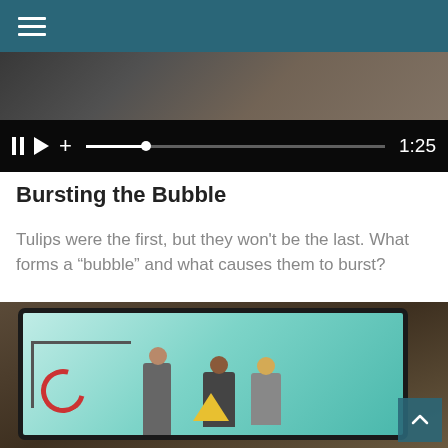[Figure (screenshot): Video player showing paused state at 1:25 with pause, play, and add controls and a progress bar]
Bursting the Bubble
Tulips were the first, but they won't be the last. What forms a "bubble" and what causes them to burst?
[Figure (photo): A tablet device displaying an animated illustration of people in a business meeting setting, with a teal/turquoise background, on top of a textured surface]